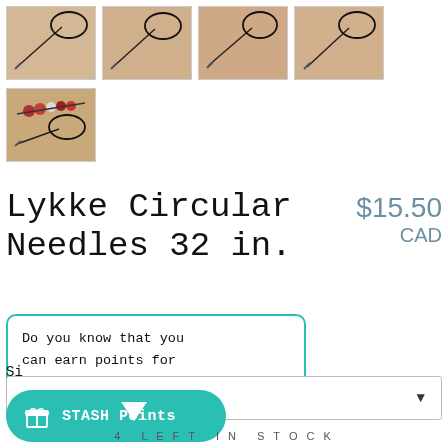[Figure (photo): Four thumbnail images of knitting needles (circular needles) against a tan/beige background, arranged in a top row]
[Figure (photo): One thumbnail image of circular knitting needles with beads, against a beige background]
Lykke Circular Needles 32 in.
$15.50 CAD
Do you know that you can earn points for discounts next time?
Si
STASH Points
4 LEFT IN STOCK